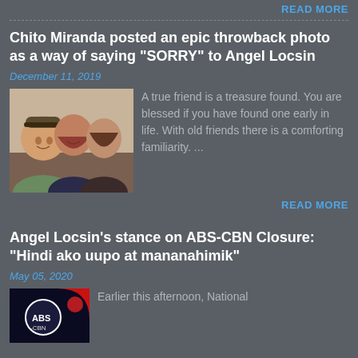READ MORE
Chito Miranda posted an epic throwback photo as a way of saying “SORRY” to Angel Locsin
December 11, 2019
[Figure (photo): Selfie photo of three people including a man in a cap and two women]
A true friend is a treasure found. You are blessed if you have found one early in life. With old friends there is a comforting familiarity. ...
READ MORE
Angel Locsin’s stance on ABS-CBN Closure: “Hindi ako uupo at mananahimik”
May 05, 2020
[Figure (photo): ABS-CBN logo thumbnail, dark background with red]
Earlier this afternoon, National